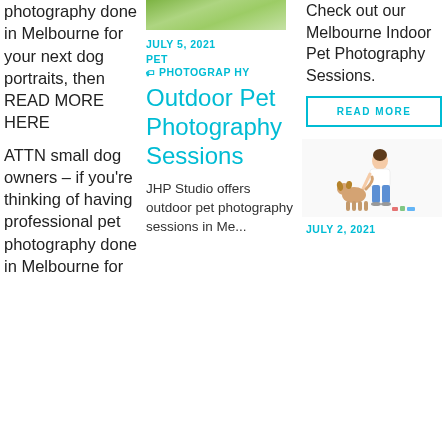photography done in Melbourne for your next dog portraits, then READ MORE HERE
ATTN small dog owners - if you're thinking of having professional pet photography done in Melbourne for
[Figure (photo): Green grass outdoor photo, partial view at top of middle column]
JULY 5, 2021
PET
PHOTOGRAPHY
Outdoor Pet Photography Sessions
JHP Studio offers outdoor pet photography sessions in Me...
Check out our Melbourne Indoor Pet Photography Sessions.
READ MORE
[Figure (illustration): Woman standing with a dog, white background illustration]
JULY 2, 2021